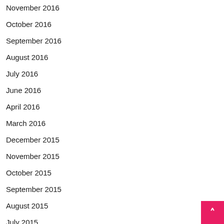November 2016
October 2016
September 2016
August 2016
July 2016
June 2016
April 2016
March 2016
December 2015
November 2015
October 2015
September 2015
August 2015
July 2015
June 2015